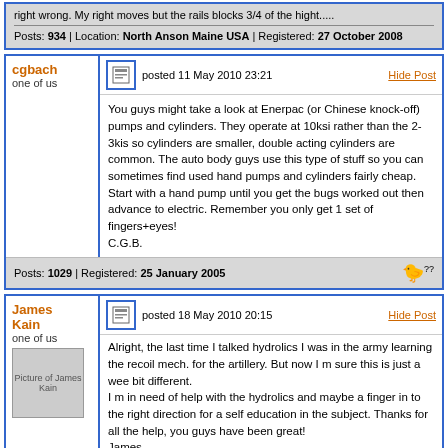right wrong. My right moves but the rails blocks 3/4 of the hight.....
Posts: 934 | Location: North Anson Maine USA | Registered: 27 October 2008
cgbach
one of us
posted 11 May 2010 23:21
Hide Post
You guys might take a look at Enerpac (or Chinese knock-off) pumps and cylinders. They operate at 10ksi rather than the 2-3kis so cylinders are smaller, double acting cylinders are common. The auto body guys use this type of stuff so you can sometimes find used hand pumps and cylinders fairly cheap. Start with a hand pump until you get the bugs worked out then advance to electric. Remember you only get 1 set of fingers+eyes!
C.G.B.
Posts: 1029 | Registered: 25 January 2005
James Kain
one of us
posted 18 May 2010 20:15
Hide Post
Alright, the last time I talked hydrolics I was in the army learning the recoil mech. for the artillery. But now I m sure this is just a wee bit different.
I m in need of help with the hydrolics and maybe a finger in to the right direction for a self education in the subject. Thanks for all the help, you guys have been great!
James

Disabled Vet(non-combat) - US Army
NRA LIFE MEMBER